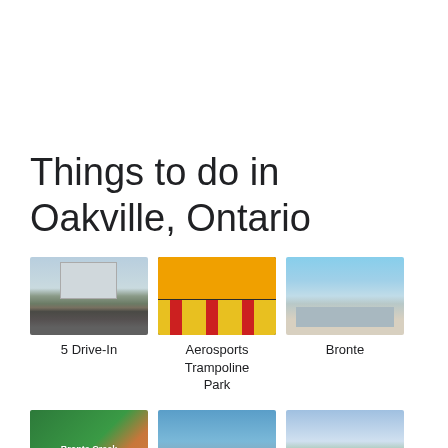Things to do in Oakville, Ontario
[Figure (photo): 5 Drive-In theatre, parking lot with large screen in background, hazy sky]
5 Drive-In
[Figure (photo): Aerosports Trampoline Park interior with yellow and red trampolines on dark floor]
Aerosports Trampoline Park
[Figure (photo): Bronte marina with boats and water, blue sky]
Bronte
[Figure (photo): Bronte Creek Provincial Park green sign with logo]
Bronte Creek Provincial
[Figure (photo): Bronte Harbour with sailboat masts visible, water and trees]
Bronte Harbour
[Figure (photo): Bronte Heritage tent structure with clouds and green lawn]
Bronte Heritage